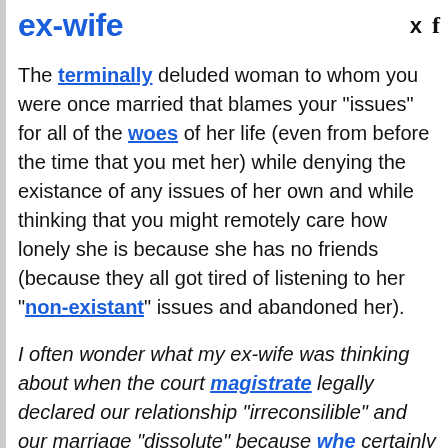ex-wife
The terminally deluded woman to whom you were once married that blames your "issues" for all of the woes of her life (even from before the time that you met her) while denying the existance of any issues of her own and while thinking that you might remotely care how lonely she is because she has no friends (because they all got tired of listening to her "non-existant" issues and abandoned her).
I often wonder what my ex-wife was thinking about when the court magistrate legally declared our relationship "irreconsilible" and our marriage "dissolute" because whe certainly wasn't listening